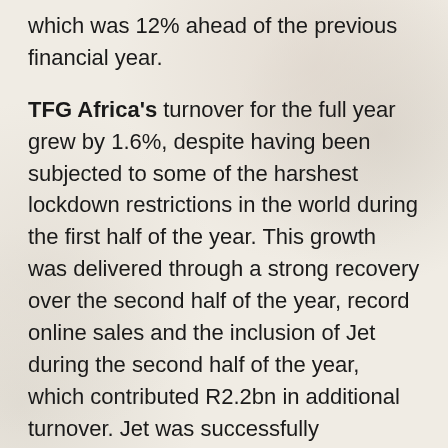which was 12% ahead of the previous financial year.
TFG Africa's turnover for the full year grew by 1.6%, despite having been subjected to some of the harshest lockdown restrictions in the world during the first half of the year. This growth was delivered through a strong recovery over the second half of the year, record online sales and the inclusion of Jet during the second half of the year, which contributed R2.2bn in additional turnover. Jet was successfully transitioned onto more than 70 TFG IT systems in less than 6 months and